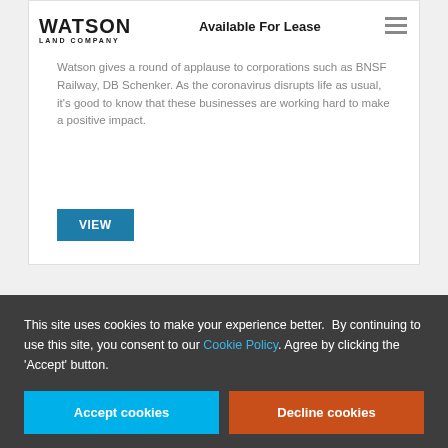WATSON LAND COMPANY — Available For Lease
Watson gives a round of applause to corporations such as BNSF Railway, DB Schenker. As the coronavirus disrupts life as usual, it's good to know that these businesses are working hard to make a positive impact.
VIEW
Be In The Know
This site uses cookies to make your experience better. By continuing to use this site, you consent to our Cookie Policy. Agree by clicking the 'Accept' button.
Accept cookies
Decline cookies